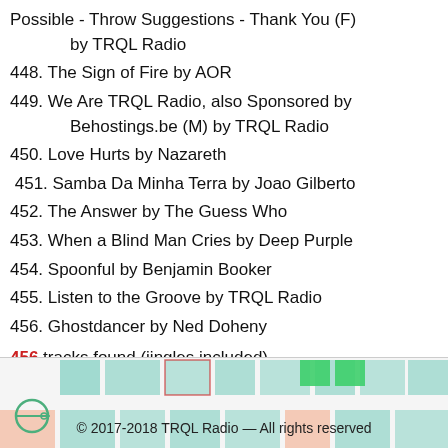Possible - Throw Suggestions - Thank You (F) by TRQL Radio
448. The Sign of Fire by AOR
449. We Are TRQL Radio, also Sponsored by Behostings.be (M) by TRQL Radio
450. Love Hurts by Nazareth
451. Samba Da Minha Terra by Joao Gilberto
452. The Answer by The Guess Who
453. When a Blind Man Cries by Deep Purple
454. Spoonful by Benjamin Booker
455. Listen to the Groove by TRQL Radio
456. Ghostdancer by Ned Doheny
456 tracks found (jingles included)
© 2017-2018 TRQL Radio — All rights reserved